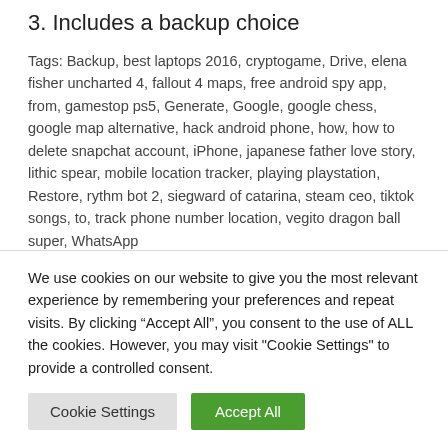3. Includes a backup choice
Tags: Backup, best laptops 2016, cryptogame, Drive, elena fisher uncharted 4, fallout 4 maps, free android spy app, from, gamestop ps5, Generate, Google, google chess, google map alternative, hack android phone, how, how to delete snapchat account, iPhone, japanese father love story, lithic spear, mobile location tracker, playing playstation, Restore, rythm bot 2, siegward of catarina, steam ceo, tiktok songs, to, track phone number location, vegito dragon ball super, WhatsApp
Previous
We use cookies on our website to give you the most relevant experience by remembering your preferences and repeat visits. By clicking “Accept All”, you consent to the use of ALL the cookies. However, you may visit "Cookie Settings" to provide a controlled consent.